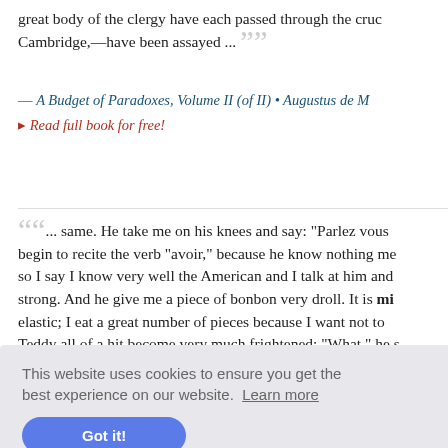great body of the clergy have each passed through the cruc Cambridge,—have been assayed ...
— A Budget of Paradoxes, Volume II (of II) • Augustus de M
▸ Read full book for free!
... same. He take me on his knees and say: "Parlez vous begin to recite the verb "avoir," because he know nothing me so I say I know very well the American and I talk at him and strong. And he give me a piece of bonbon very droll. It is mi elastic; I eat a great number of pieces because I want not to Teddy all of a hit become very much frightened: "What," he s swallow the chewing gum!" And I say: "Naturally I swallow th Teddy say a bad English word ...
Serrell
This website uses cookies to ensure you get the best experience on our website. Learn more
Got it!
n America ates assay ew British p sovereign, as the actual coin itself is called. 4.8665 is the m